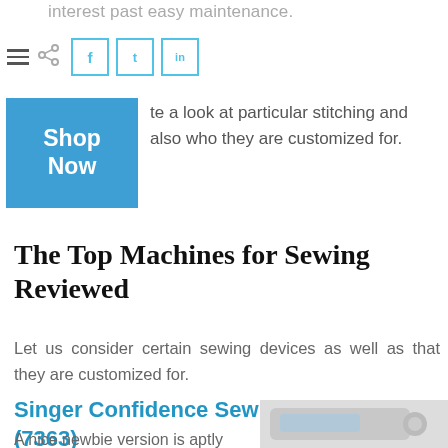interest past easy maintenance.
[Figure (screenshot): Social sharing toolbar with hamburger menu, share icon, and Facebook, Twitter, LinkedIn buttons. Below is a blue 'Shop Now' button.]
take a look at particular stitching and also who they are customized for.
The Top Machines for Sewing Reviewed
Let us consider certain sewing devices as well as that they are customized for.
Singer Confidence Sewing Machine (7363)
A nice newbie version is aptly called the "Confidence" b...